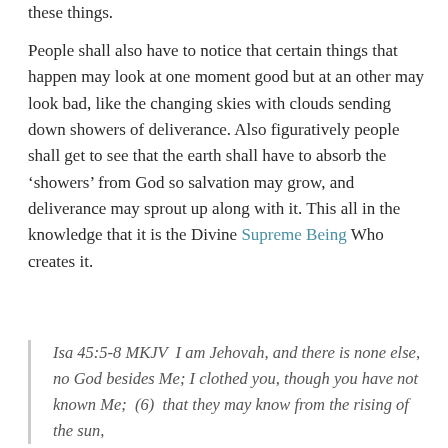these things.
People shall also have to notice that certain things that happen may look at one moment good but at an other may look bad, like the changing skies with clouds sending down showers of deliverance. Also figuratively people shall get to see that the earth shall have to absorb the ‘showers’ from God so salvation may grow, and deliverance may sprout up along with it. This all in the knowledge that it is the Divine Supreme Being Who creates it.
Isa 45:5-8 MKJV  I am Jehovah, and there is none else, no God besides Me; I clothed you, though you have not known Me;  (6)  that they may know from the rising of the sun,